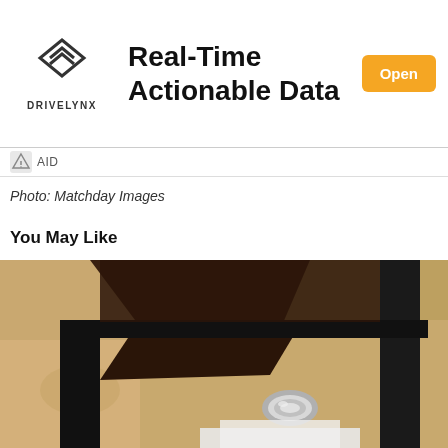[Figure (advertisement): DriveLynx advertisement banner with logo, 'Real-Time Actionable Data' headline, and orange 'Open' button]
[Figure (infographic): Small AID label bar with DriveLynx icon and 'AID' text]
Photo: Matchday Images
You May Like
[Figure (photo): Close-up photo of what appears to be a stone architectural detail with dark metal fixture and silver metallic element, warm sandy tones]